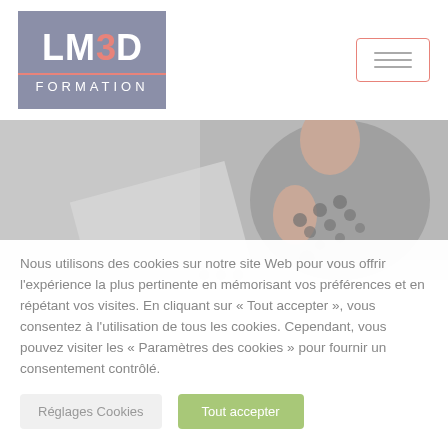[Figure (logo): LM3D Formation logo with purple/grey background, '3' in salmon/pink color, 'FORMATION' text below with pink divider line]
[Figure (other): Hamburger menu button with salmon/pink border]
[Figure (photo): Hero image showing a person in a grey sweater holding documents, with a semi-transparent overlay and decorative dot pattern]
Nous utilisons des cookies sur notre site Web pour vous offrir l'expérience la plus pertinente en mémorisant vos préférences et en répétant vos visites. En cliquant sur « Tout accepter », vous consentez à l'utilisation de tous les cookies. Cependant, vous pouvez visiter les « Paramètres des cookies » pour fournir un consentement contrôlé.
Réglages Cookies
Tout accepter